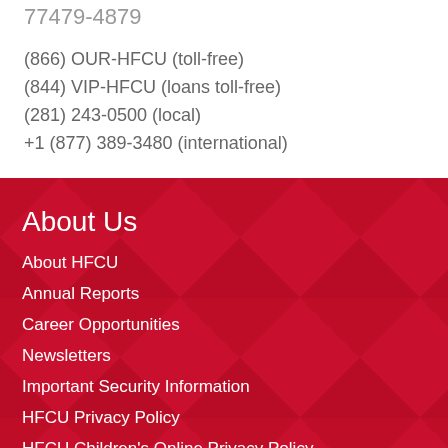77479-4879
(866) OUR-HFCU (toll-free)
(844) VIP-HFCU (loans toll-free)
(281) 243-0500 (local)
+1 (877) 389-3480 (international)
About Us
About HFCU
Annual Reports
Career Opportunities
Newsletters
Important Security Information
HFCU Privacy Policy
HFCU Children's Online Privacy Policy
USA Patriots Act Identification Notice
Accessibility Statement
Disclosures